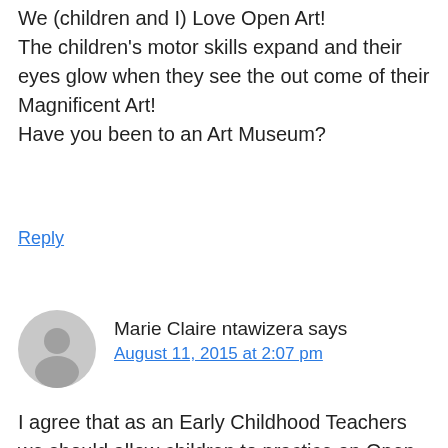We (children and I) Love Open Art! The children's motor skills expand and their eyes glow when they see the out come of their Magnificent Art! Have you been to an Art Museum?
Reply
Marie Claire ntawizera says
August 11, 2015 at 2:07 pm
I agree that as an Early Childhood Teachers we should allow children to practice an Open Ended Art Activity in our classrooms. I believe that it is an important opportunity for children to develop different skills while learning through free play. They use their